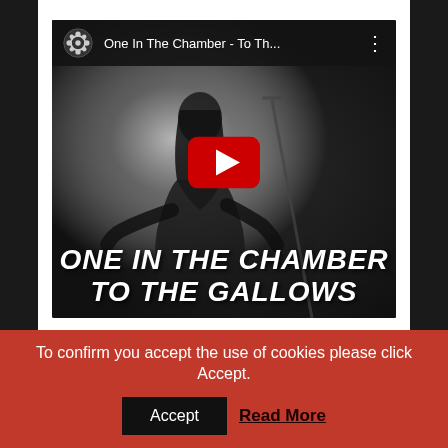[Figure (screenshot): YouTube video thumbnail for 'One In The Chamber - To Th...' showing a black and white image of a performer with a microphone, a YouTube play button overlay, and bold italic white text reading 'ONE IN THE CHAMBER / TO THE GALLOWS' at the bottom. The video header shows a film reel icon, the video title, and a three-dot menu.]
To confirm you accept the use of cookies please click Accept.
Accept
Read More